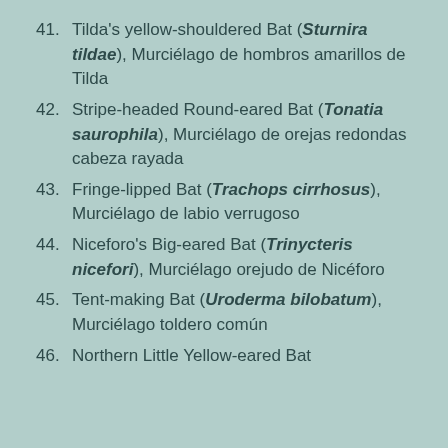41. Tilda's yellow-shouldered Bat (Sturnira tildae), Murciélago de hombros amarillos de Tilda
42. Stripe-headed Round-eared Bat (Tonatia saurophila), Murciélago de orejas redondas cabeza rayada
43. Fringe-lipped Bat (Trachops cirrhosus), Murciélago de labio verrugoso
44. Niceforo's Big-eared Bat (Trinycteris nicefori), Murciélago orejudo de Nicéforo
45. Tent-making Bat (Uroderma bilobatum), Murciélago toldero común
46. Northern Little Yellow-eared Bat